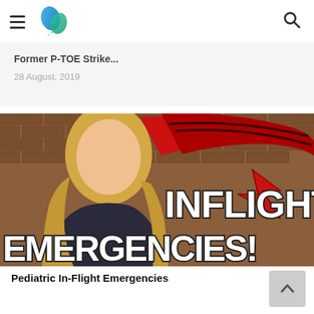Navigation header with hamburger menu, site logo, and search icon
Former P-TOE Strike...
28 August, 2019
[Figure (photo): Video thumbnail showing a woman with blonde hair in front of a brick wall with a red winged lightning bolt logo. Large white text reads INFLIGHT EMERGENCIES!]
Pediatric In-Flight Emergencies